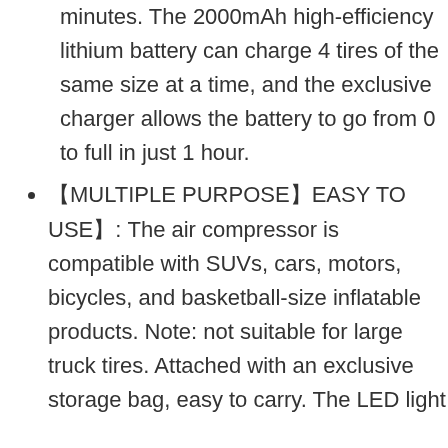minutes. The 2000mAh high-efficiency lithium battery can charge 4 tires of the same size at a time, and the exclusive charger allows the battery to go from 0 to full in just 1 hour.
【MULTIPLE PURPOSE】EASY TO USE】: The air compressor is compatible with SUVs, cars, motors, bicycles, and basketball-size inflatable products. Note: not suitable for large truck tires. Attached with an exclusive storage bag, easy to carry. The LED light